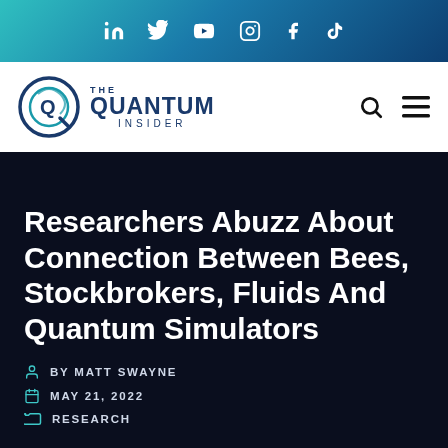in  y  ▶  ○  f  ♪  (social media icons)
[Figure (logo): The Quantum Insider logo with circular Q icon and search/hamburger menu icons]
Researchers Abuzz About Connection Between Bees, Stockbrokers, Fluids And Quantum Simulators
BY MATT SWAYNE
MAY 21, 2022
RESEARCH